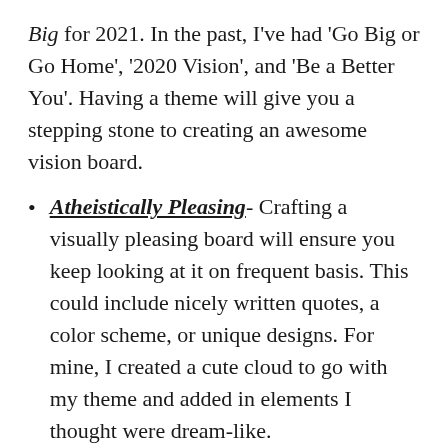Big for 2021. In the past, I've had 'Go Big or Go Home', '2020 Vision', and 'Be a Better You'. Having a theme will give you a stepping stone to creating an awesome vision board.
Atheistically Pleasing- Crafting a visually pleasing board will ensure you keep looking at it on frequent basis. This could include nicely written quotes, a color scheme, or unique designs. For mine, I created a cute cloud to go with my theme and added in elements I thought were dream-like.
3D Elements- Having a 3D element jump out from the